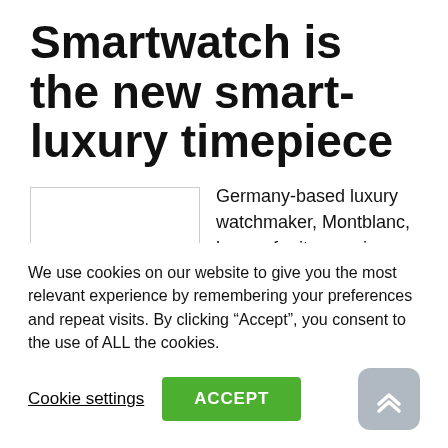Smartwatch is the new smart-luxury timepiece
[Figure (photo): Placeholder image of a watch, shown as a white rectangle with border]
Germany-based luxury watchmaker, Montblanc, known for its premium and unique quality watches has recently entered into the smartwatch segment with its new Montblanc Summit Smartwatch. The Summit Smartwatch series draws its design inspiration from 1858 collection having a 46mm watch case design, with the dial featuring second counters, timers, and world clock
We use cookies on our website to give you the most relevant experience by remembering your preferences and repeat visits. By clicking “Accept”, you consent to the use of ALL the cookies.
Cookie settings  ACCEPT